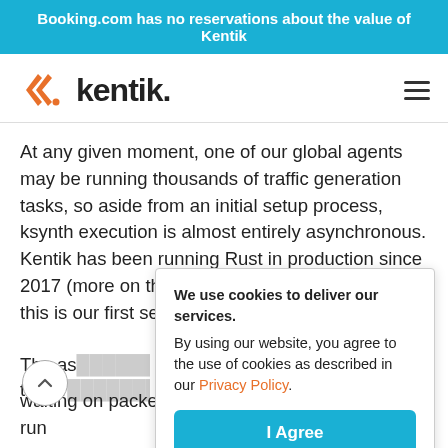Booking.com has no reservations about the value of Kentik
[Figure (logo): Kentik logo with orange double chevron and bold black 'kentik.' wordmark]
At any given moment, one of our global agents may be running thousands of traffic generation tasks, so aside from an initial setup process, ksynth execution is almost entirely asynchronous. Kentik has been running Rust in production since 2017 (more on that in this previous blog post), but this is our first serious use of async/...
We use cookies to deliver our services.
By using our website, you agree to the use of cookies as described in our Privacy Policy.
I Agree
The as[ynchronous runtime we chose]...[mapping, tracer]...[as a]...[io]...
waiting on packets or timeouts, so each agent can run